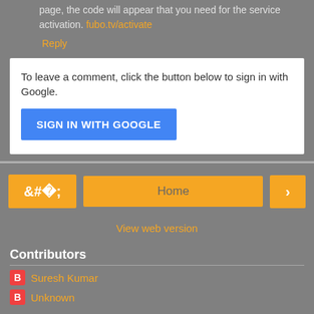page, the code will appear that you need for the service activation. fubo.tv/activate
Reply
To leave a comment, click the button below to sign in with Google.
SIGN IN WITH GOOGLE
Home
View web version
Contributors
Suresh Kumar
Unknown
Powered by Blogger.